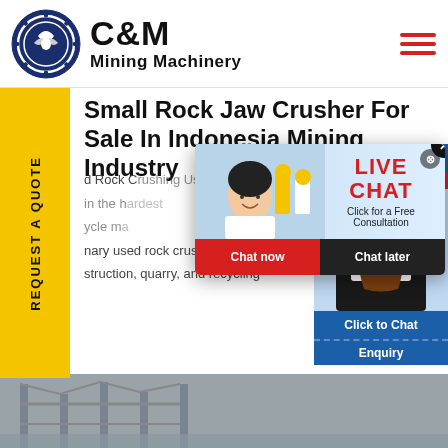[Figure (logo): C&M Mining Machinery logo with eagle icon in dark blue circle]
Small Rock Jaw Crusher For Sale In Indonesia Mining Industry
d Rock Crushing Using in the h ycle ma nary used rock crusher for sale struction, quarry, and recycling
[Figure (screenshot): Live Chat popup overlay with woman in hard hat and workers, LIVE CHAT heading in red, Click for a Free Consultation text, Chat now (red) and Chat later (dark) buttons]
[Figure (photo): Customer service agent woman with headset on right panel, with Hours Online, Click to Chat, and Enquiry labels]
[Figure (photo): Bottom image showing industrial/construction structure in grey]